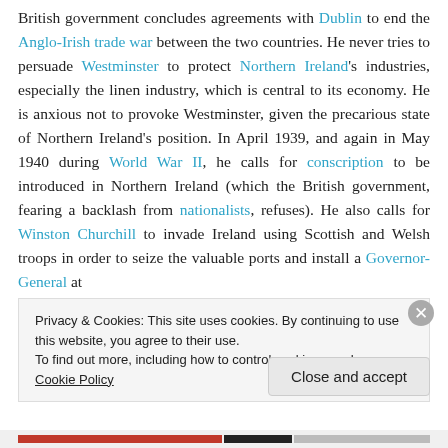British government concludes agreements with Dublin to end the Anglo-Irish trade war between the two countries. He never tries to persuade Westminster to protect Northern Ireland's industries, especially the linen industry, which is central to its economy. He is anxious not to provoke Westminster, given the precarious state of Northern Ireland's position. In April 1939, and again in May 1940 during World War II, he calls for conscription to be introduced in Northern Ireland (which the British government, fearing a backlash from nationalists, refuses). He also calls for Winston Churchill to invade Ireland using Scottish and Welsh troops in order to seize the valuable ports and install a Governor-General at
Privacy & Cookies: This site uses cookies. By continuing to use this website, you agree to their use.
To find out more, including how to control cookies, see here: Cookie Policy
Close and accept